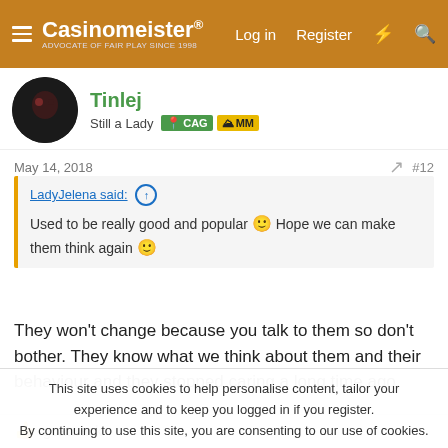Casinomeister® — Log in  Register
Tinlej
Still a Lady 🏅CAG 🏅MM
May 14, 2018  #12
LadyJelena said: ↑
Used to be really good and popular 🙂 Hope we can make them think again 🙂
They won't change because you talk to them so don't bother. They know what we think about them and their behaviour and they stopped caring a long time ago.
goatwack
This site uses cookies to help personalise content, tailor your experience and to keep you logged in if you register.
By continuing to use this site, you are consenting to our use of cookies.
✓ Accept    Learn more...